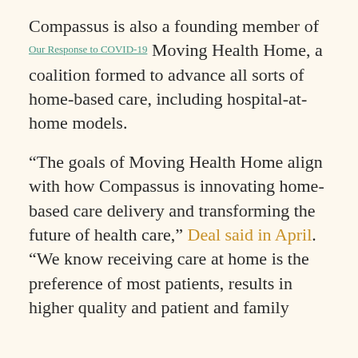Compassus is also a founding member of [Our Response to COVID-19] Moving Health Home, a coalition formed to advance all sorts of home-based care, including hospital-at-home models.
“The goals of Moving Health Home align with how Compassus is innovating home-based care delivery and transforming the future of health care,” Deal said in April. “We know receiving care at home is the preference of most patients, results in higher quality and patient and family